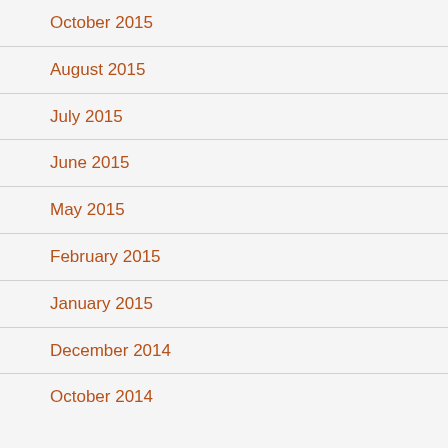October 2015
August 2015
July 2015
June 2015
May 2015
February 2015
January 2015
December 2014
October 2014